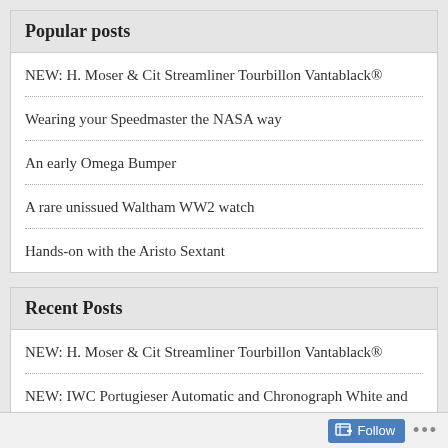Popular posts
NEW: H. Moser & Cit Streamliner Tourbillon Vantablack®
Wearing your Speedmaster the NASA way
An early Omega Bumper
A rare unissued Waltham WW2 watch
Hands-on with the Aristo Sextant
Recent Posts
NEW: H. Moser & Cit Streamliner Tourbillon Vantablack®
NEW: IWC Portugieser Automatic and Chronograph White and Blue
NEW: Moritz Grossmann Date Turquoise
Follow ...